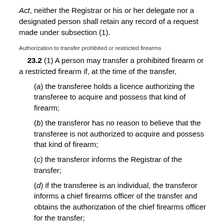Act, neither the Registrar or his or her delegate nor a designated person shall retain any record of a request made under subsection (1).
Authorization to transfer prohibited or restricted firearms
23.2 (1) A person may transfer a prohibited firearm or a restricted firearm if, at the time of the transfer,
(a) the transferee holds a licence authorizing the transferee to acquire and possess that kind of firearm;
(b) the transferor has no reason to believe that the transferee is not authorized to acquire and possess that kind of firearm;
(c) the transferor informs the Registrar of the transfer;
(d) if the transferee is an individual, the transferor informs a chief firearms officer of the transfer and obtains the authorization of the chief firearms officer for the transfer;
(e) a new registration certificate for the firearm is issued in accordance with this Act; and
(f) the prescribed conditions are met.